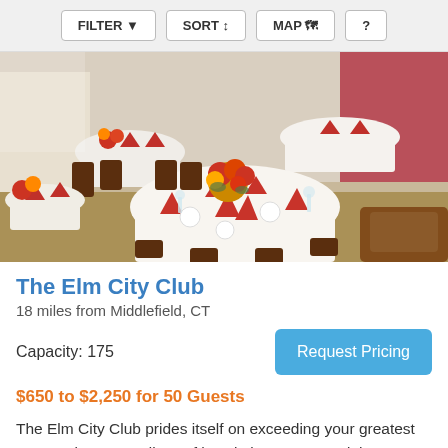FILTER  SORT  MAP  ?
[Figure (photo): Interior of The Elm City Club banquet hall with round tables covered in white tablecloths, red folded napkins, and floral centerpieces with red and yellow flowers. Dark wood chairs surround the tables. Natural light comes from windows in the background.]
The Elm City Club
18 miles from Middlefield, CT
Capacity: 175
Request Pricing
$650 to $2,250 for 50 Guests
The Elm City Club prides itself on exceeding your greatest expectations regardless of how intimate or grand the occasion. Select from a fabulous array of food and beverage choices and